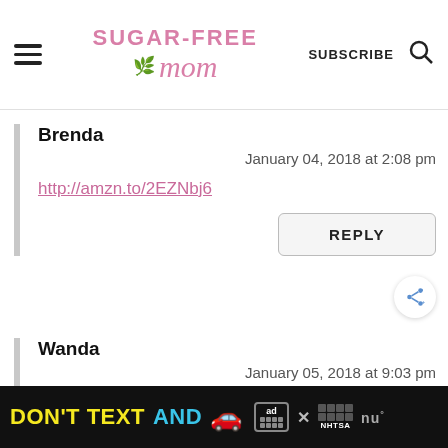Sugar-Free Mom — SUBSCRIBE [search icon]
Brenda
January 04, 2018 at 2:08 pm
http://amzn.to/2EZNbj6
REPLY
Wanda
January 05, 2018 at 9:03 pm
DON'T TEXT AND [car emoji] ad NHTSA